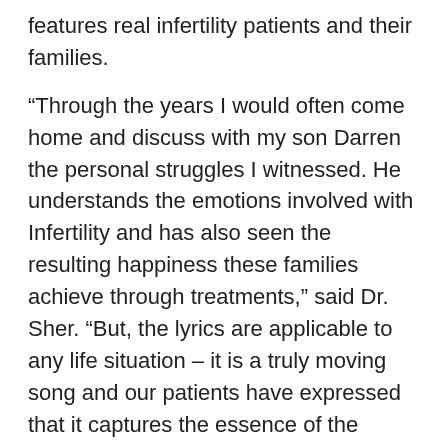features real infertility patients and their families.
“Through the years I would often come home and discuss with my son Darren the personal struggles I witnessed. He understands the emotions involved with Infertility and has also seen the resulting happiness these families achieve through treatments,” said Dr. Sher. “But, the lyrics are applicable to any life situation – it is a truly moving song and our patients have expressed that it captures the essence of the journey.”
The video can be viewed at www.haveababy.com/news-menu/230 .
The song “I Believe” can be downloaded at http://www.thesoundparlor.com/ . Steve Carlson and